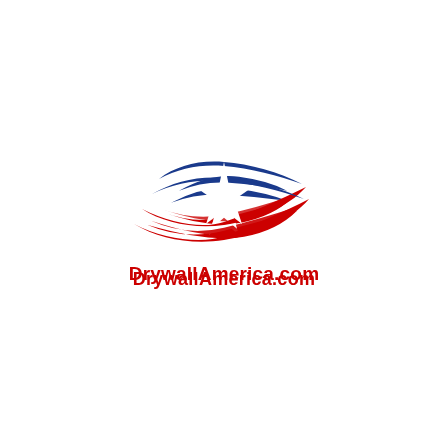[Figure (logo): DrywallAmerica.com logo featuring an eagle/star shape in white with red and blue swoosh stripes in an American flag style, with the text 'DrywallAmerica.com' in bold red below]